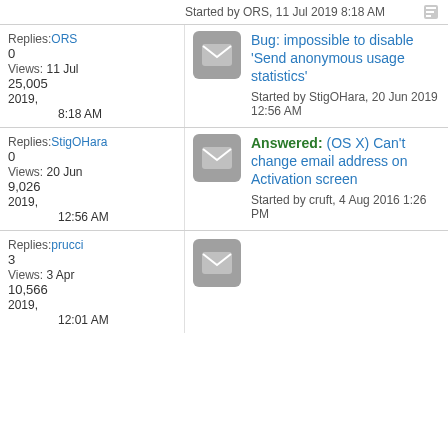Started by ORS, 11 Jul 2019 8:18 AM
Replies: ORS
0  11 Jul
Views: 2019,
25,005 8:18 AM
Bug: impossible to disable 'Send anonymous usage statistics'
Started by StigOHara, 20 Jun 2019 12:56 AM
Replies: StigOHara
0  20 Jun
Views: 2019,
9,026  12:56 AM
Answered: (OS X) Can't change email address on Activation screen
Started by cruft, 4 Aug 2016 1:26 PM
Replies: prucci
3  3 Apr
Views: 2019,
10,566 12:01 AM